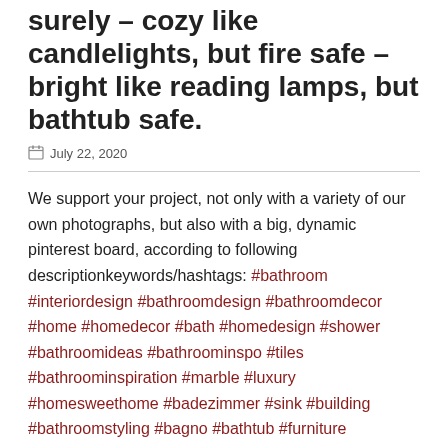surely – cozy like candlelights, but fire safe – bright like reading lamps, but bathtub safe.
July 22, 2020
We support your project, not only with a variety of our own photographs, but also with a big, dynamic pinterest board, according to following descriptionkeywords/hashtags: #bathroom #interiordesign #bathroomdesign #bathroomdecor #home #homedecor #bath #homedesign #shower #bathroomideas #bathroominspo #tiles #bathroominspiration #marble #luxury #homesweethome #badezimmer #sink #building #bathroomstyling #bagno #bathtub #furniture #homestyle #whirlpool #jacozzi #bathtime #teatime #homespa #wellness #bathing #timebulb